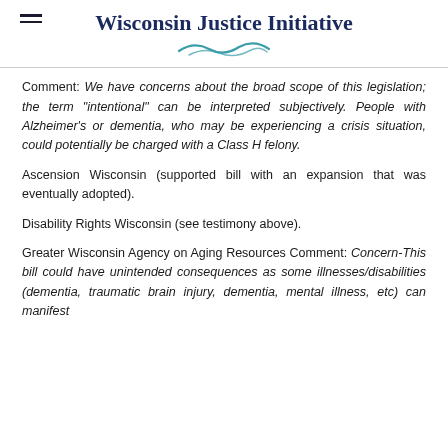Wisconsin Justice Initiative
Comment: We have concerns about the broad scope of this legislation; the term "intentional" can be interpreted subjectively. People with Alzheimer's or dementia, who may be experiencing a crisis situation, could potentially be charged with a Class H felony.
Ascension Wisconsin (supported bill with an expansion that was eventually adopted).
Disability Rights Wisconsin (see testimony above).
Greater Wisconsin Agency on Aging Resources Comment: Concern-This bill could have unintended consequences as some illnesses/disabilities (dementia, traumatic brain injury, dementia, mental illness, etc) can manifest